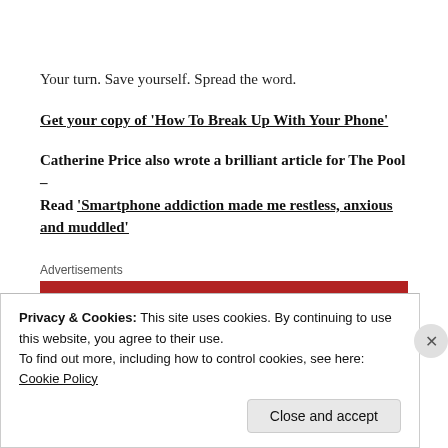Your turn. Save yourself. Spread the word.
Get your copy of 'How To Break Up With Your Phone'
Catherine Price also wrote a brilliant article for The Pool – Read 'Smartphone addiction made me restless, anxious and muddled'
Advertisements
Privacy & Cookies: This site uses cookies. By continuing to use this website, you agree to their use.
To find out more, including how to control cookies, see here: Cookie Policy
Close and accept